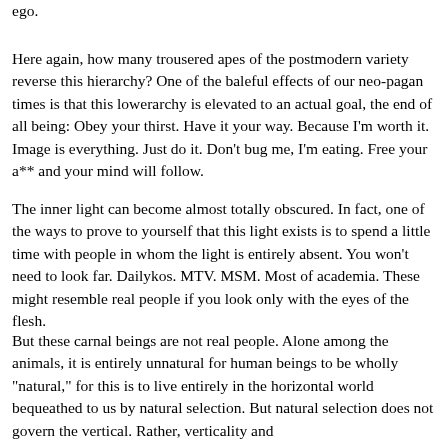ego.
Here again, how many trousered apes of the postmodern variety reverse this hierarchy? One of the baleful effects of our neo-pagan times is that this lowerarchy is elevated to an actual goal, the end of all being: Obey your thirst. Have it your way. Because I'm worth it. Image is everything. Just do it. Don't bug me, I'm eating. Free your a** and your mind will follow.
The inner light can become almost totally obscured. In fact, one of the ways to prove to yourself that this light exists is to spend a little time with people in whom the light is entirely absent. You won't need to look far. Dailykos. MTV. MSM. Most of academia. These might resemble real people if you look only with the eyes of the flesh.
But these carnal beings are not real people. Alone among the animals, it is entirely unnatural for human beings to be wholly "natural," for this is to live entirely in the horizontal world bequeathed to us by natural selection. But natural selection does not govern the vertical. Rather, verticality and